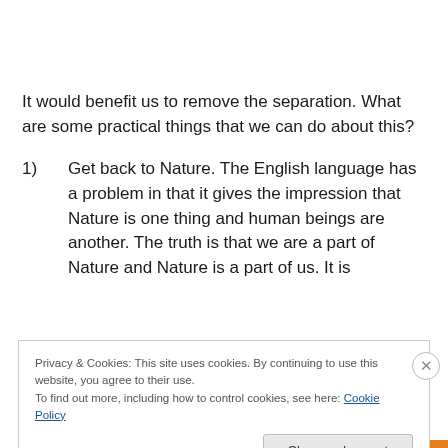It would benefit us to remove the separation. What are some practical things that we can do about this?
1)   Get back to Nature. The English language has a problem in that it gives the impression that Nature is one thing and human beings are another. The truth is that we are a part of Nature and Nature is a part of us. It is
Privacy & Cookies: This site uses cookies. By continuing to use this website, you agree to their use.
To find out more, including how to control cookies, see here: Cookie Policy